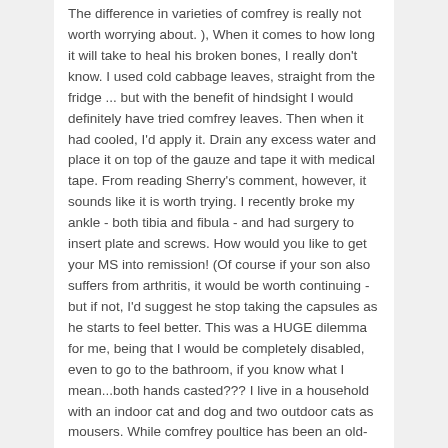The difference in varieties of comfrey is really not worth worrying about. ), When it comes to how long it will take to heal his broken bones, I really don't know. I used cold cabbage leaves, straight from the fridge ... but with the benefit of hindsight I would definitely have tried comfrey leaves. Then when it had cooled, I'd apply it. Drain any excess water and place it on top of the gauze and tape it with medical tape. From reading Sherry's comment, however, it sounds like it is worth trying. I recently broke my ankle - both tibia and fibula - and had surgery to insert plate and screws. How would you like to get your MS into remission! (Of course if your son also suffers from arthritis, it would be worth continuing - but if not, I'd suggest he stop taking the capsules as he starts to feel better. This was a HUGE dilemma for me, being that I would be completely disabled, even to go to the bathroom, if you know what I mean...both hands casted??? I live in a household with an indoor cat and dog and two outdoor cats as mousers. While comfrey poultice has been an old-time remedy for bone fractures for generations, modern science has found supporting evidence for its folk uses. I honestly don't know whether or not it would help with muscle wasting. It was taken internally for a variety of medical aliments ranging